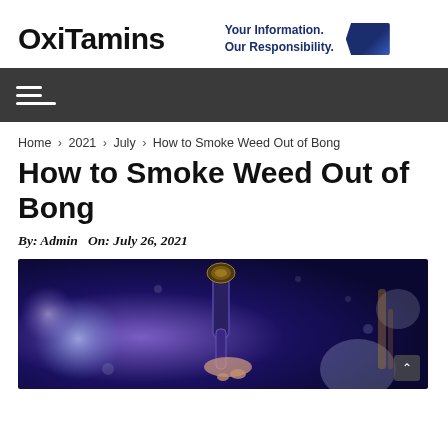OxiTamins — Your Information. Our Responsibility.
Navigation menu (hamburger)
Home › 2021 › July › How to Smoke Weed Out of Bong
How to Smoke Weed Out of Bong
By: Admin  On: July 26, 2021
[Figure (photo): A close-up photo of a cannabis pipe/bong being held up with colorful bokeh background lights in blue and purple tones]